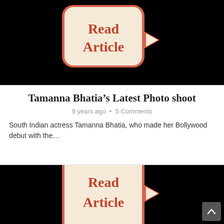[Figure (illustration): Black background with a cream/beige speech bubble containing bold red-orange text 'Read Article']
Tamanna Bhatia’s Latest Photo shoot
9 years ago • 5 Comments
South Indian actress Tamanna Bhatia, who made her Bollywood debut with the…
[Figure (illustration): Black background with a cream/beige speech bubble containing bold red-orange text 'Read Article' (partially visible), with a dark scroll-to-top button in the bottom-right corner]